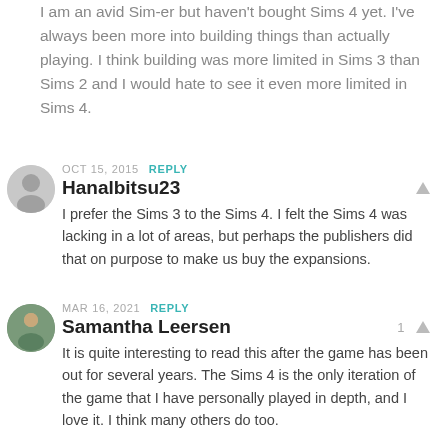I am an avid Sim-er but haven't bought Sims 4 yet. I've always been more into building things than actually playing. I think building was more limited in Sims 3 than Sims 2 and I would hate to see it even more limited in Sims 4.
OCT 15, 2015  REPLY
Hanalbitsu23
I prefer the Sims 3 to the Sims 4. I felt the Sims 4 was lacking in a lot of areas, but perhaps the publishers did that on purpose to make us buy the expansions.
MAR 16, 2021  REPLY
Samantha Leersen
It is quite interesting to read this after the game has been out for several years. The Sims 4 is the only iteration of the game that I have personally played in depth, and I love it. I think many others do too.

The problem with The Sims franchise, though, is that players will always have something to compare it to.